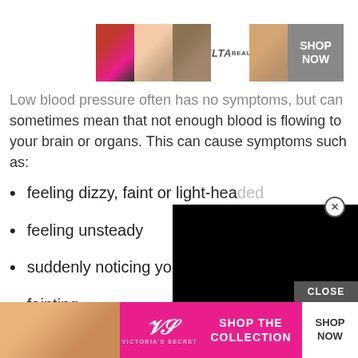[Figure (illustration): ULTA beauty advertisement banner with makeup images (lips, brush, eye) and SHOP NOW button]
Low blood pressure often has no symptoms, but can sometimes mean that not enough blood is flowing to your brain or organs. This can cause symptoms such as:
feeling dizzy, faint or light-headed
feeling unsteady
suddenly noticing your heartbeat
fainting
[Figure (other): Black video player overlay with close button]
If you have these symptoms, stop what youre doing and sit down or lie down somewhere comfortable and stay still.
[Figure (illustration): Victoria's Secret advertisement with model photo, pink background, SHOP THE COLLECTION text and SHOP NOW button]
[Figure (other): CLOSE button bar]